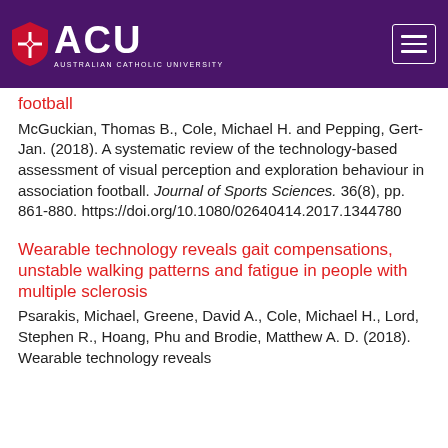[Figure (logo): Australian Catholic University (ACU) header with purple background, shield logo, ACU text and hamburger menu icon]
football
McGuckian, Thomas B., Cole, Michael H. and Pepping, Gert-Jan. (2018). A systematic review of the technology-based assessment of visual perception and exploration behaviour in association football. Journal of Sports Sciences. 36(8), pp. 861-880. https://doi.org/10.1080/02640414.2017.1344780
Wearable technology reveals gait compensations, unstable walking patterns and fatigue in people with multiple sclerosis
Psarakis, Michael, Greene, David A., Cole, Michael H., Lord, Stephen R., Hoang, Phu and Brodie, Matthew A. D. (2018). Wearable technology reveals